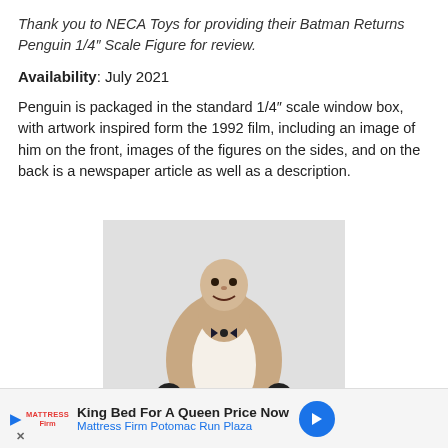Thank you to NECA Toys for providing their Batman Returns Penguin 1/4" Scale Figure for review.
Availability: July 2021
Penguin is packaged in the standard 1/4" scale window box, with artwork inspired form the 1992 film, including an image of him on the front, images of the figures on the sides, and on the back is a newspaper article as well as a description.
[Figure (photo): Photo of the NECA Batman Returns Penguin 1/4 scale action figure, showing a stout figure in striped trousers, white shirt, black gloves, and bow tie against a light gray background.]
Close X
King Bed For A Queen Price Now
Mattress Firm Potomac Run Plaza